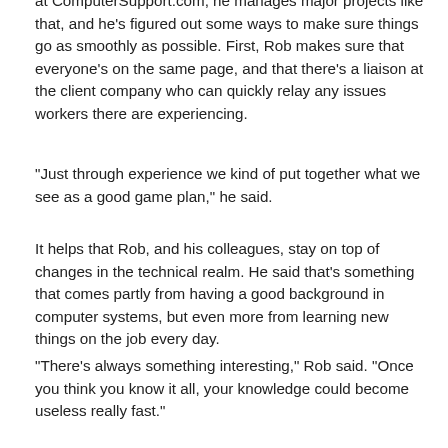at ComputerSupport.com, he manages major projects like that, and he's figured out some ways to make sure things go as smoothly as possible. First, Rob makes sure that everyone's on the same page, and that there's a liaison at the client company who can quickly relay any issues workers there are experiencing.
“Just through experience we kind of put together what we see as a good game plan,” he said.
It helps that Rob, and his colleagues, stay on top of changes in the technical realm. He said that’s something that comes partly from having a good background in computer systems, but even more from learning new things on the job every day.
“There’s always something interesting,” Rob said. “Once you think you know it all, your knowledge could become useless really fast.”
Rob said he’s learned a lot since joining ComputerSupport.com as one of the IT consulting firm’s first employees five years ago. He now finds it easy to think not